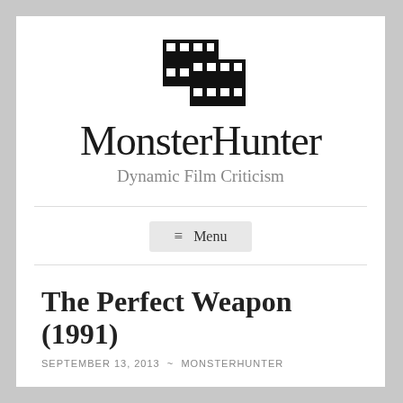[Figure (logo): Film strip logo icon made of two overlapping black film frames with white square perforations]
MonsterHunter
Dynamic Film Criticism
☰ Menu
The Perfect Weapon (1991)
SEPTEMBER 13, 2013 ~ MONSTERHUNTER
The Perfe...